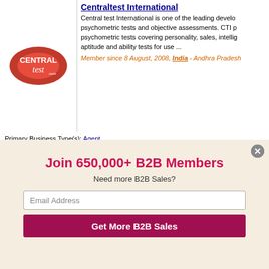Centraltest International
Central test International is one of the leading developers of psychometric tests and objective assessments. CTI provides certified psychometric tests covering personality, sales, intellig... aptitude and ability tests for use ...
Member since 8 August, 2008, India - Andhra Pradesh
Primary Business Type(s): Agent
Buy & Sell Offers: 0 - No Current Trade Leads
Products: 0 - No Current Products
Cepro Engineers
Member since 11 July, 2007, India - Andhra Pradesh
Primary Business Type(s): Agent
Buy & Sell Offers: 0 - No Current Trade Leads
Products: 0 - No Current Products
Join 650,000+ B2B Members
Need more B2B Sales?
Email Address
Get More B2B Sales